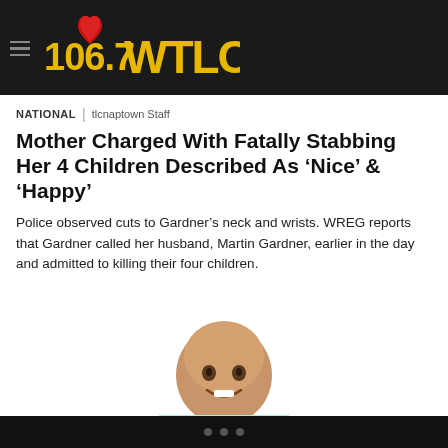[Figure (logo): 106.7 WTLC radio station logo with red heart graphic on dark background, with hamburger menu icon]
NATIONAL | tlcnaptown Staff
Mother Charged With Fatally Stabbing Her 4 Children Described As ‘Nice’ & ‘Happy’
Police observed cuts to Gardner’s neck and wrists. WREG reports that Gardner called her husband, Martin Gardner, earlier in the day and admitted to killing their four children.
[Figure (photo): Smiling young bald child wearing a light blue striped shirt, photographed against a white background, making a heart gesture with hands]
• • •